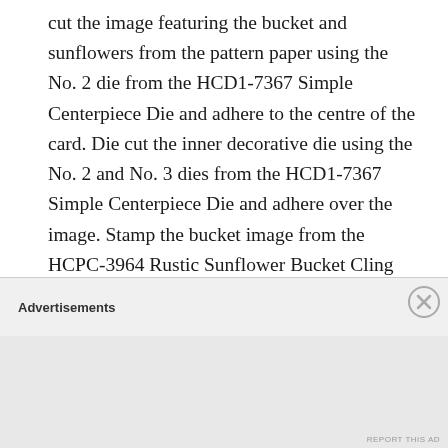cut the image featuring the bucket and sunflowers from the pattern paper using the No. 2 die from the HCD1-7367 Simple Centerpiece Die and adhere to the centre of the card. Die cut the inner decorative die using the No. 2 and No. 3 dies from the HCD1-7367 Simple Centerpiece Die and adhere over the image. Stamp the bucket image from the HCPC-3964 Rustic Sunflower Bucket Cling Stamp Set and the single sunflower images from the HCPC-3963 Rustic Sunflower Can & Freezer Cling Stamp Set ink Jet Black ink on Iris cardstock. Colour with Zig Clean Colour Real Brush Markers and die cut with the coordinating dies. Cut the
Advertisements